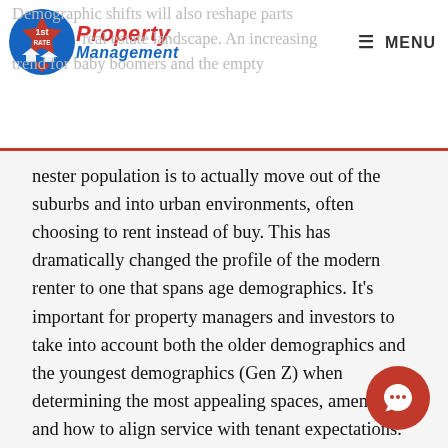1st Rate Property Management — MENU
Demographic shifts will also reshape parts of the real estate landscape. An increasing trend for baby boomers and the empty nester population is to actually move out of the suburbs and into urban environments, often choosing to rent instead of buy. This has dramatically changed the profile of the modern renter to one that spans age demographics. It's important for property managers and investors to take into account both the older demographics and the youngest demographics (Gen Z) when determining the most appealing spaces, amenities and how to align service with tenant expectations.
3. Hottest Market Opportunities